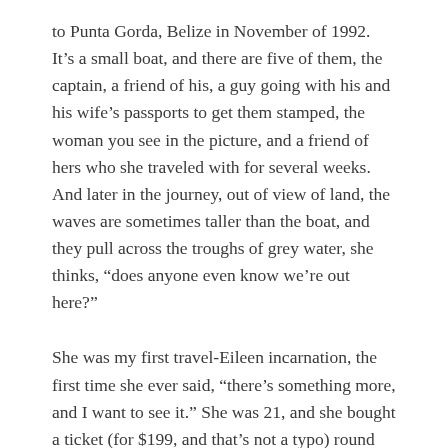to Punta Gorda, Belize in November of 1992. It's a small boat, and there are five of them, the captain, a friend of his, a guy going with his and his wife's passports to get them stamped, the woman you see in the picture, and a friend of hers who she traveled with for several weeks. And later in the journey, out of view of land, the waves are sometimes taller than the boat, and they pull across the troughs of grey water, she thinks, “does anyone even know we’re out here?”
She was my first travel-Eileen incarnation, the first time she ever said, “there’s something more, and I want to see it.” She was 21, and she bought a ticket (for $199, and that’s not a typo) round trip from JFK to Mexico City. In between these flights, there were six months of–judging by her journal–absolute blather, self-doubt, boy-craziness, and intestinal woe. There were also